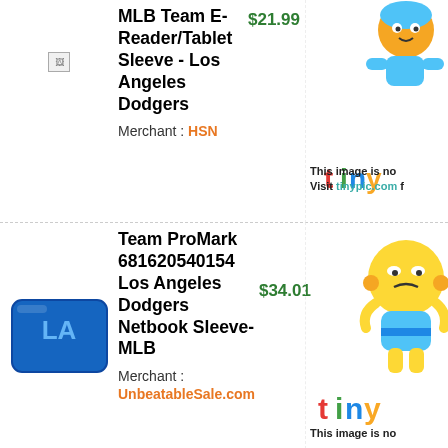[Figure (photo): Broken image placeholder for MLB Team E-Reader/Tablet Sleeve - Los Angeles Dodgers]
MLB Team E-Reader/Tablet Sleeve - Los Angeles Dodgers
$21.99
Merchant : HSN
[Figure (photo): Tinypic.com placeholder image - This image is no longer available. Visit tinypic.com for...]
[Figure (photo): Blue Los Angeles Dodgers Netbook Sleeve with LA logo]
Team ProMark 681620540154 Los Angeles Dodgers Netbook Sleeve-MLB
$34.01
Merchant : UnbeatableSale.com
[Figure (photo): Tinypic.com placeholder image - This image is no longer available.]